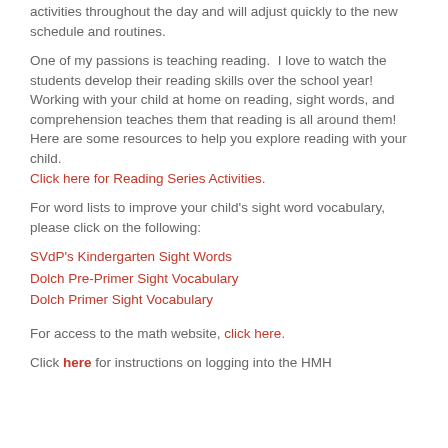activities throughout the day and will adjust quickly to the new schedule and routines.
One of my passions is teaching reading. I love to watch the students develop their reading skills over the school year! Working with your child at home on reading, sight words, and comprehension teaches them that reading is all around them! Here are some resources to help you explore reading with your child. Click here for Reading Series Activities.
For word lists to improve your child's sight word vocabulary, please click on the following:
SVdP's Kindergarten Sight Words
Dolch Pre-Primer Sight Vocabulary
Dolch Primer Sight Vocabulary
For access to the math website, click here.
Click here for instructions on logging into the HMH